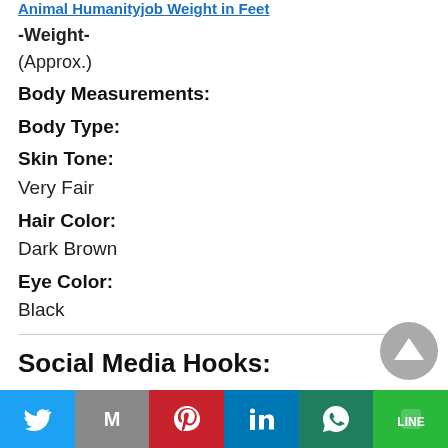Animal Humanityjob Weight in Feet
-Weight-
(Approx.)
Body Measurements:
Body Type:
Skin Tone:
Very Fair
Hair Color:
Dark Brown
Eye Color:
Black
Social Media Hooks:
Follow Your Favourite Celebrity/Humanityjob/Model...